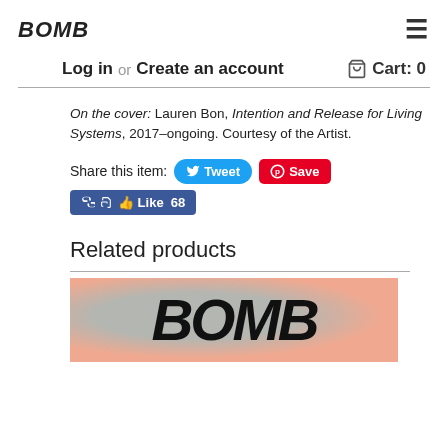BOMB
Log in or Create an account   Cart: 0
On the cover: Lauren Bon, Intention and Release for Living Systems, 2017–ongoing. Courtesy of the Artist.
Share this item: Tweet  Save  Like 68
Related products
[Figure (photo): BOMB magazine cover with salmon/pink background showing large italic BOMB text with blue watercolor overlay]